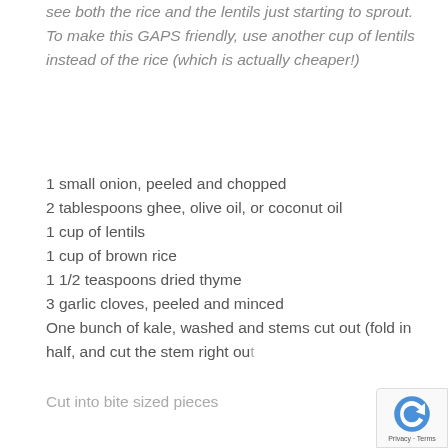see both the rice and the lentils just starting to sprout. To make this GAPS friendly, use another cup of lentils instead of the rice (which is actually cheaper!)
1 small onion, peeled and chopped
2 tablespoons ghee, olive oil, or coconut oil
1 cup of lentils
1 cup of brown rice
1 1/2 teaspoons dried thyme
3 garlic cloves, peeled and minced
One bunch of kale, washed and stems cut out (fold in half, and cut the stem right out
Cut into bite sized pieces